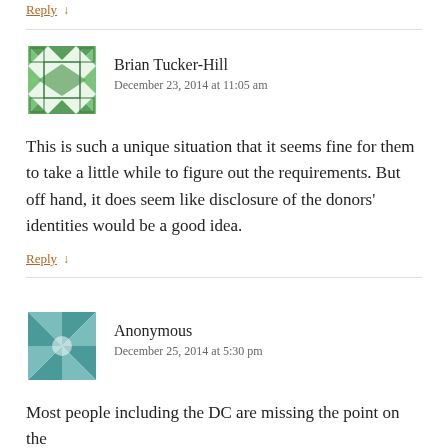Reply ↓
Brian Tucker-Hill
December 23, 2014 at 11:05 am
This is such a unique situation that it seems fine for them to take a little while to figure out the requirements. But off hand, it does seem like disclosure of the donors' identities would be a good idea.
Reply ↓
Anonymous
December 25, 2014 at 5:30 pm
Most people including the DC are missing the point on the